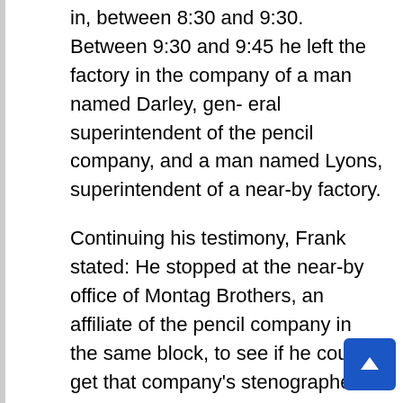in, between 8:30 and 9:30. Between 9:30 and 9:45 he left the factory in the company of a man named Darley, gen- eral superintendent of the pencil company, and a man named Lyons, superintendent of a near-by factory.

Continuing his testimony, Frank stated: He stopped at the near-by office of Montag Brothers, an affiliate of the pencil company in the same block, to see if he could get that company's stenographer Mattie Hall to come over to